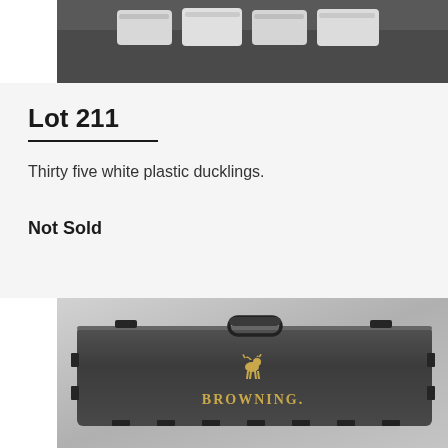[Figure (photo): Top portion of a photograph showing white plastic bags/packages on a dark surface, cropped at top of page]
Lot 211
Thirty five white plastic ducklings.
Not Sold
[Figure (photo): Photograph of a black Browning hard gun case with carry handle and latches, featuring the Browning buck mark logo and BROWNING text in gold on the lid, displayed against a gray background]